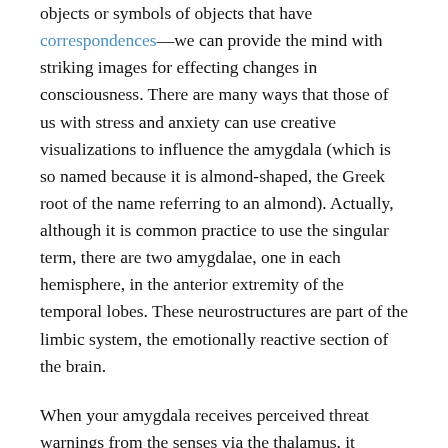objects or symbols of objects that have correspondences—we can provide the mind with striking images for effecting changes in consciousness. There are many ways that those of us with stress and anxiety can use creative visualizations to influence the amygdala (which is so named because it is almond-shaped, the Greek root of the name referring to an almond). Actually, although it is common practice to use the singular term, there are two amygdalae, one in each hemisphere, in the anterior extremity of the temporal lobes. These neurostructures are part of the limbic system, the emotionally reactive section of the brain.
When your amygdala receives perceived threat warnings from the senses via the thalamus, it switches on the "fight or flight" response, flooding